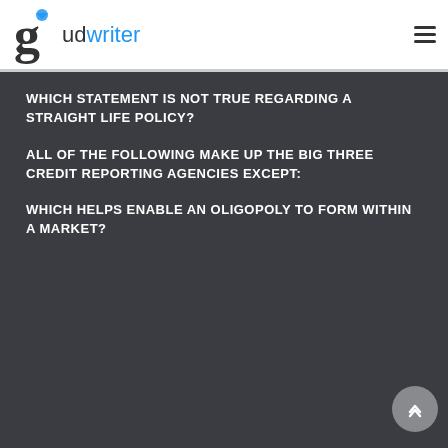gudwriter
WHICH STATEMENT IS NOT TRUE REGARDING A STRAIGHT LIFE POLICY?
ALL OF THE FOLLOWING MAKE UP THE BIG THREE CREDIT REPORTING AGENCIES EXCEPT:
WHICH HELPS ENABLE AN OLIGOPOLY TO FORM WITHIN A MARKET?
HOME  ABOUT US  CONTACT US  TERMS AND CONDITIONS  PRIVACY POLICY  SITE MAP